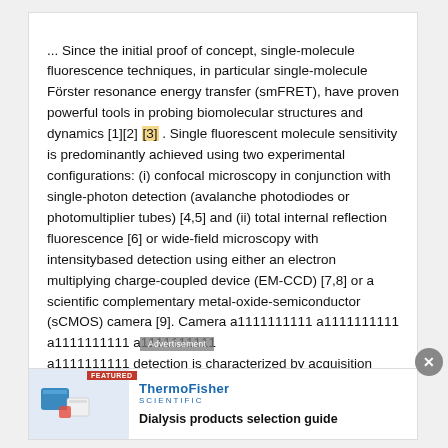... Since the initial proof of concept, single-molecule fluorescence techniques, in particular single-molecule Förster resonance energy transfer (smFRET), have proven powerful tools in probing biomolecular structures and dynamics [1][2] [3] . Single fluorescent molecule sensitivity is predominantly achieved using two experimental configurations: (i) confocal microscopy in conjunction with single-photon detection (avalanche photodiodes or photomultiplier tubes) [4,5] and (ii) total internal reflection fluorescence [6] or wide-field microscopy with intensitybased detection using either an electron multiplying charge-coupled device (EM-CCD) [7,8] or a scientific complementary metal-oxide-semiconductor (sCMOS) camera [9]. Camera a1111111111 a1111111111 a1111111111 a1111111111 a1111111111 detection is characterized by acquisition
[Figure (other): ThermoFisher Scientific advertisement banner for 'Dialysis products selection guide' featuring lab product images]